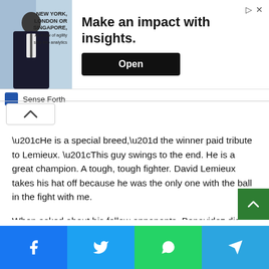[Figure (screenshot): Advertisement banner: image of man in suit with 'NEW YORK, LONDON OR SINGAPORE' text on left, 'Make an impact with insights.' headline and Open button on right, with Sense Forth branding below]
“He is a special breed,” the winner paid tribute to Lemieux. “This guy swings to the end. He is a great champion. A tough, tough fighter. David Lemieux takes his hat off because he was the only one with the ball in the fight with me.
When asked about his fellow opponents, Benavidez did not punch. I’m waiting [Caleb Plant, Jermall Charlo, David Morrell] to sign a contract. They know what happened. I am here waiting for them. I will be against everyone. I make sure I’m knocking everyone down.”
[Figure (screenshot): Social share bar with Facebook (blue), Twitter (light blue), WhatsApp (green), and Telegram (blue) buttons]